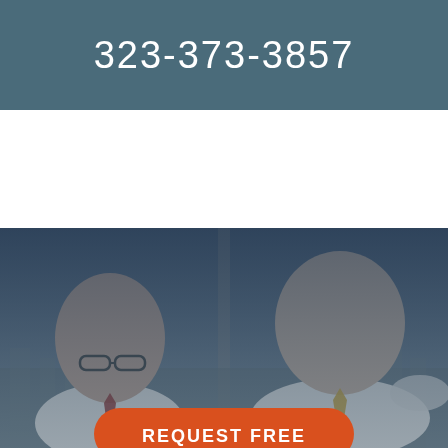323-373-3857
[Figure (photo): Two bald businessmen in white dress shirts with ties looking downward, standing near a window with a city skyline in the background, image has a dark blue overlay tint]
REQUEST FREE